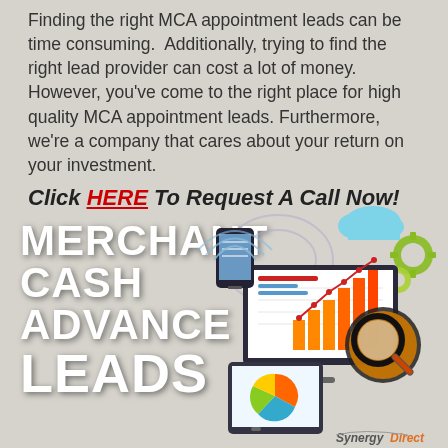Finding the right MCA appointment leads can be time consuming. Additionally, trying to find the right lead provider can cost a lot of money. However, you've come to the right place for high quality MCA appointment leads. Furthermore, we're a company that cares about your return on your investment.
Click HERE To Request A Call Now!
[Figure (infographic): Infographic banner for Merchant Cash Advance Leads with bold white text on the left reading MERCHANT CASH ADVANCE LEADS, and on the right a digital marketing illustration showing a monitor with bar charts and a magnifying glass, a mobile phone with WiFi signals, a tablet with a pie chart, gears, and a cloud. Synergy Direct logo at bottom right.]